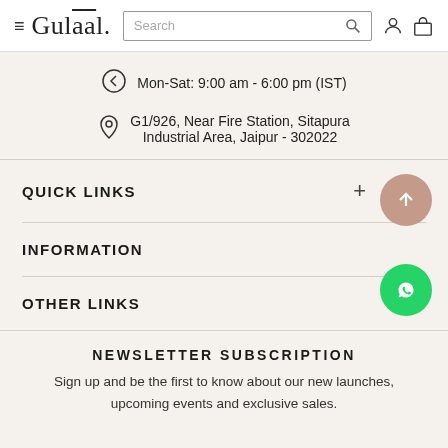Gulaal — Search header with navigation icons
Mon-Sat: 9:00 am - 6:00 pm (IST)
G1/926, Near Fire Station, Sitapura Industrial Area, Jaipur - 302022
QUICK LINKS
INFORMATION
OTHER LINKS
NEWSLETTER SUBSCRIPTION
Sign up and be the first to know about our new launches, upcoming events and exclusive sales.